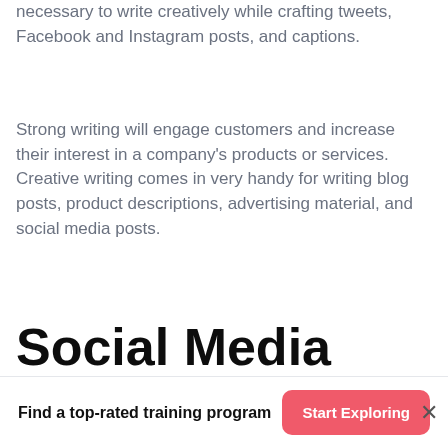necessary to write creatively while crafting tweets, Facebook and Instagram posts, and captions.
Strong writing will engage customers and increase their interest in a company's products or services. Creative writing comes in very handy for writing blog posts, product descriptions, advertising material, and social media posts.
Social Media Analyst Job Description
Find a top-rated training program
Start Exploring